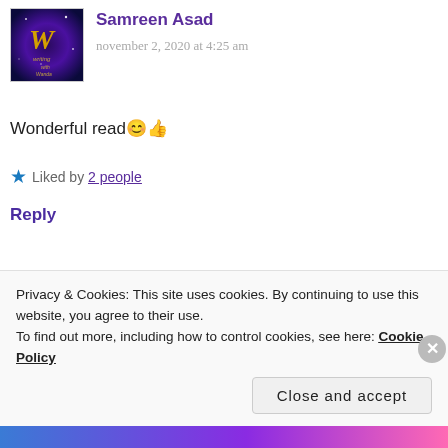Samreen Asad
november 2, 2020 at 4:25 am
Wonderful read 😊 👍
★ Liked by 2 people
Reply
rosidabegum
november 2, 2020 at 5:27 pm
Privacy & Cookies: This site uses cookies. By continuing to use this website, you agree to their use. To find out more, including how to control cookies, see here: Cookie Policy
Close and accept